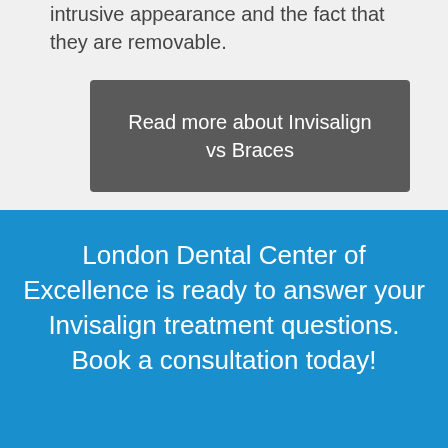intrusive appearance and the fact that they are removable.
Read more about Invisalign vs Braces
London Dental Center of Excellence is ready to answer your Invisalign treatment questions. Book a consultation today!